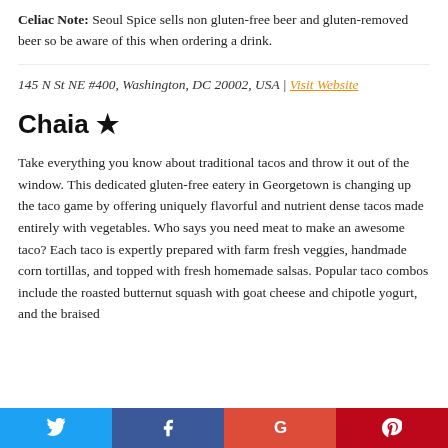Celiac Note: Seoul Spice sells non gluten-free beer and gluten-removed beer so be aware of this when ordering a drink.
145 N St NE #400, Washington, DC 20002, USA | Visit Website
Chaia ★
Take everything you know about traditional tacos and throw it out of the window. This dedicated gluten-free eatery in Georgetown is changing up the taco game by offering uniquely flavorful and nutrient dense tacos made entirely with vegetables. Who says you need meat to make an awesome taco? Each taco is expertly prepared with farm fresh veggies, handmade corn tortillas, and topped with fresh homemade salsas. Popular taco combos include the roasted butternut squash with goat cheese and chipotle yogurt, and the braised